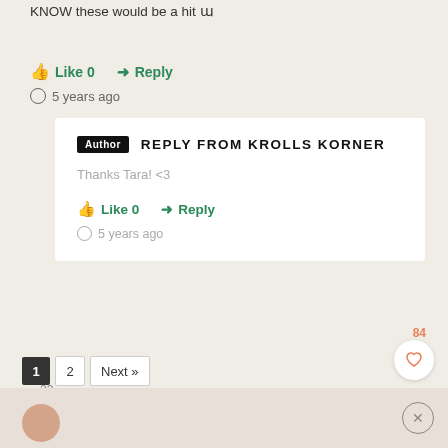KNOW these would be a hit 🙂
👍 Like 0   ➜ Reply
🕐 5 years ago
Author  REPLY FROM KROLLS KORNER
Thanks Tara! <3
👍 Like 0   ➜ Reply
🕐 5 years ago
84
1  2  Next »
22